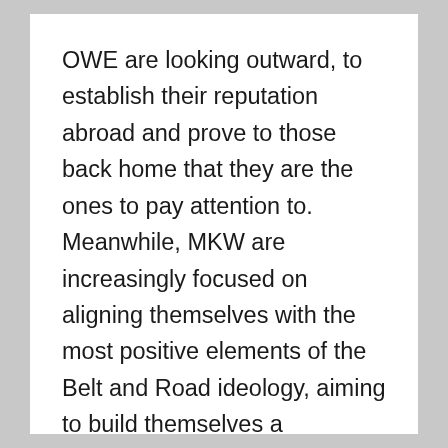OWE are looking outward, to establish their reputation abroad and prove to those back home that they are the ones to pay attention to. Meanwhile, MKW are increasingly focused on aligning themselves with the most positive elements of the Belt and Road ideology, aiming to build themselves a reputation within China as ambassadors of Chinese culture through the initiative. Both brands aim to tug at the heartstrings, and wallets, of the mainland Chinese population in different ways.